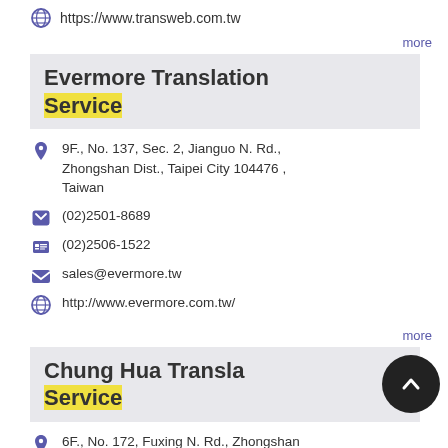https://www.transweb.com.tw
more
Evermore Translation Service
9F., No. 137, Sec. 2, Jianguo N. Rd., Zhongshan Dist., Taipei City 104476 , Taiwan
(02)2501-8689
(02)2506-1522
sales@evermore.tw
http://www.evermore.com.tw/
more
Chung Hua Translation Service
6F., No. 172, Fuxing N. Rd., Zhongshan Dist., Taipei City 104509 , Taiwan